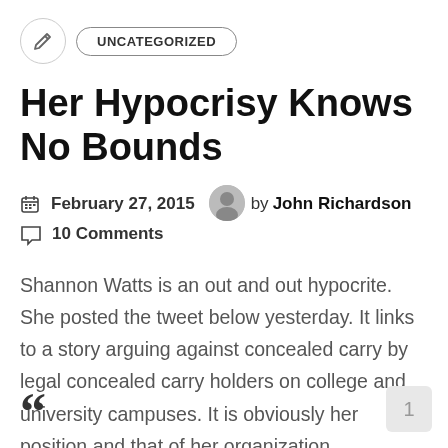UNCATEGORIZED
Her Hypocrisy Knows No Bounds
February 27, 2015  by John Richardson  10 Comments
Shannon Watts is an out and out hypocrite. She posted the tweet below yesterday. It links to a story arguing against concealed carry by legal concealed carry holders on college and university campuses. It is obviously her position and that of her organization.